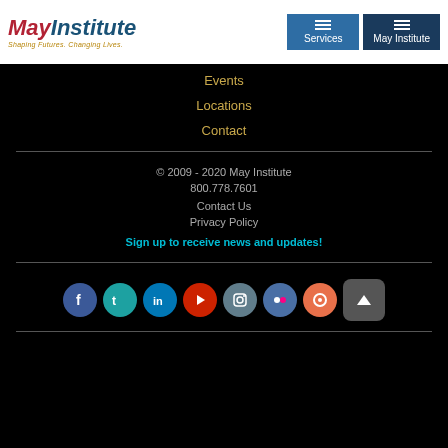May Institute — Shaping Futures. Changing Lives. | Services | May Institute
Events
Locations
Contact
© 2009 - 2020 May Institute
800.778.7601
Contact Us
Privacy Policy
Sign up to receive news and updates!
[Figure (other): Social media icons row: Facebook, Twitter, LinkedIn, YouTube, Instagram, Flickr, Rdio, and a scroll-to-top button]